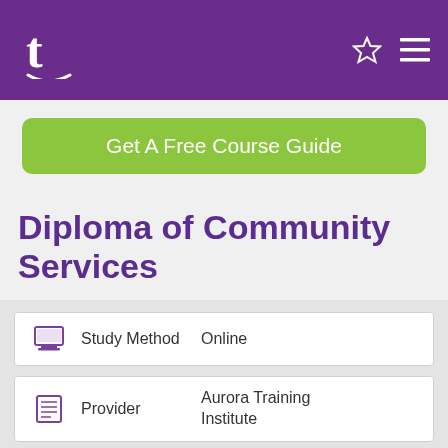t [logo] [star] [menu]
Get A Free Course Guide
Diploma of Community Services
Study Method: Online
Provider: Aurora Training Institute
Recognition: Nationally Recognised Training